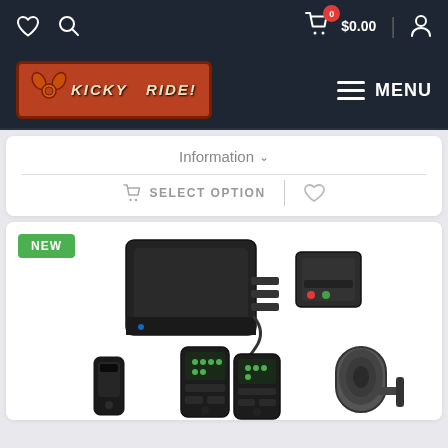Navigation bar with heart icon, search icon, cart (0 items, $0.00), and user icon
[Figure (logo): Kicky Ride logo - orange/red badge style with gear icon between KICKY and RIDE! text]
Information ∨
SELECT OPTION ♡
[Figure (photo): NEW badge product image showing car security alarm system components: main control module (black box), shock sensor (small black box with LED indicators), two key fob remotes with LCD displays, one small remote fob, and a siren speaker horn, all on white background]